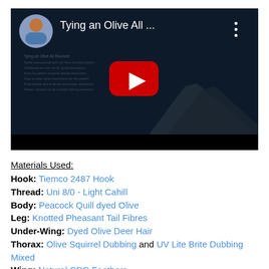[Figure (screenshot): YouTube video thumbnail showing 'Tying an Olive All ...' with a fly tying instructor avatar, dark background with a fly fishing hook silhouette, and a red YouTube play button in the center.]
Materials Used:
Hook: Tiemco 2487 Hook
Thread: Uni 8/0 - Light Cahill
Body: Peacock Quill dyed Olive
Leg: Knotted Pheasant Tail Fibres
Under-Wing: Dyed Olive Deer Hair
Thorax: Olive Squirrel Dubbing and UV Lite Brite Dubbing Mixed
Wing: Natural CDC Feathers